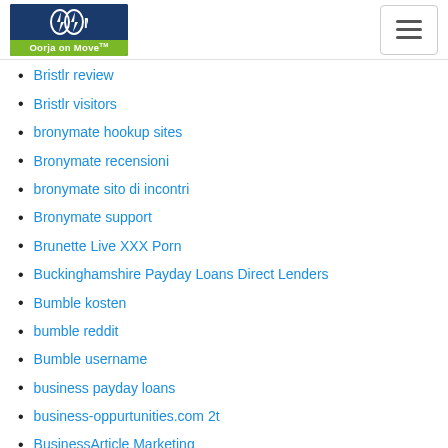Oorja on Move
Bristlr review
Bristlr visitors
bronymate hookup sites
Bronymate recensioni
bronymate sito di incontri
Bronymate support
Brunette Live XXX Porn
Buckinghamshire Payday Loans Direct Lenders
Bumble kosten
bumble reddit
Bumble username
business payday loans
business-oppurtunities.com 2t
BusinessArticle Marketing
BusinessArticle Marketing
BusinessEntrepreneurs